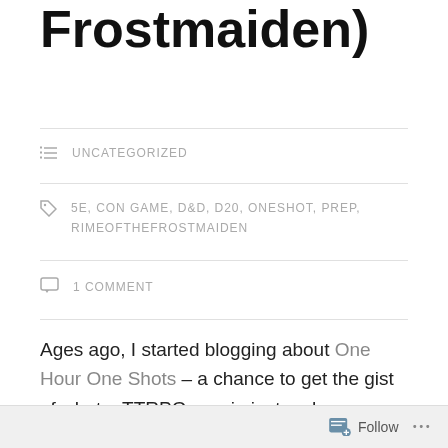Frostmaiden)
UNCATEGORIZED
5E, CON GAME, D&D, D20, ONESHOT, PREP, RIMEOFTHEFROSTMAIDEN
1 COMMENT
Ages ago, I started blogging about One Hour One Shots – a chance to get the gist of what a TTRPG was in just an hour, rather than needing a whole session of 3-4. I reviewed some, and even had one published (for free) as a demo scenario for Hunters